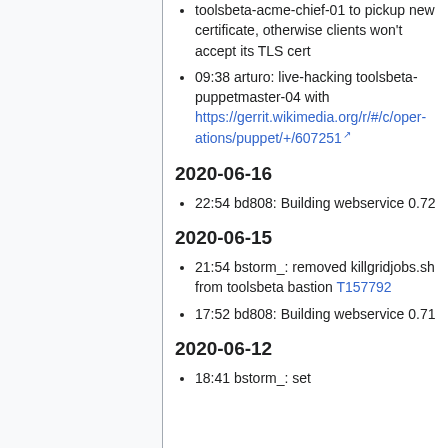toolsbeta-acme-chief-01 to pickup new certificate, otherwise clients won't accept its TLS cert
09:38 arturo: live-hacking toolsbeta-puppetmaster-04 with https://gerrit.wikimedia.org/r/#/c/operations/puppet/+/607251
2020-06-16
22:54 bd808: Building webservice 0.72
2020-06-15
21:54 bstorm_: removed killgridjobs.sh from toolsbeta bastion T157792
17:52 bd808: Building webservice 0.71
2020-06-12
18:41 bstorm_: set